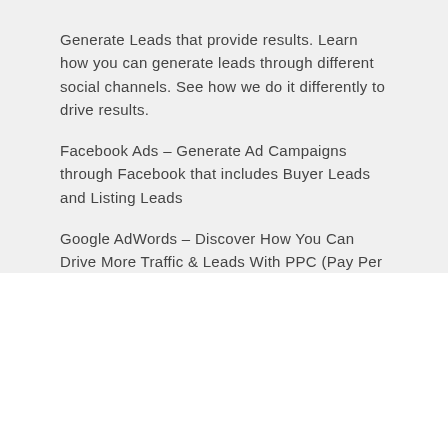Generate Leads that provide results. Learn how you can generate leads through different social channels. See how we do it differently to drive results.
Facebook Ads – Generate Ad Campaigns through Facebook that includes Buyer Leads and Listing Leads
Google AdWords – Discover How You Can Drive More Traffic & Leads With PPC (Pay Per Click) Advertising
[Figure (other): Orange 'Learn more' button]